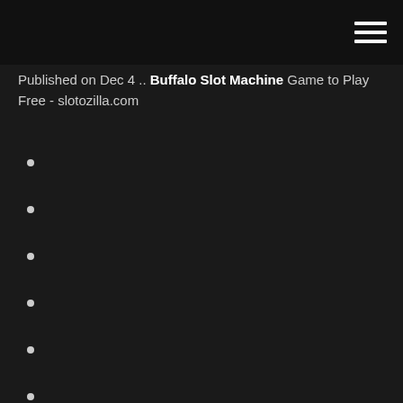Published on Dec 4 .. Buffalo Slot Machine Game to Play Free - slotozilla.com
World poker tour money leaders
Newest codes for doubledown casino
Lady gaga poker face shoes
Nearest indian casino to monterey ca
Ignition casino poker reddit